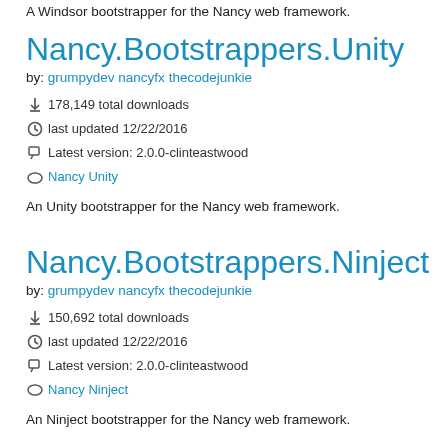A Windsor bootstrapper for the Nancy web framework.
Nancy.Bootstrappers.Unity
by: grumpydev nancyfx thecodejunkie
178,149 total downloads
last updated 12/22/2016
Latest version: 2.0.0-clinteastwood
Nancy Unity
An Unity bootstrapper for the Nancy web framework.
Nancy.Bootstrappers.Ninject
by: grumpydev nancyfx thecodejunkie
150,692 total downloads
last updated 12/22/2016
Latest version: 2.0.0-clinteastwood
Nancy Ninject
An Ninject bootstrapper for the Nancy web framework.